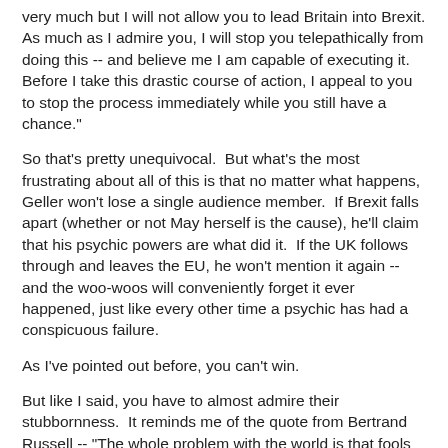very much but I will not allow you to lead Britain into Brexit. As much as I admire you, I will stop you telepathically from doing this -- and believe me I am capable of executing it. Before I take this drastic course of action, I appeal to you to stop the process immediately while you still have a chance."
So that's pretty unequivocal.  But what's the most frustrating about all of this is that no matter what happens, Geller won't lose a single audience member.  If Brexit falls apart (whether or not May herself is the cause), he'll claim that his psychic powers are what did it.  If the UK follows through and leaves the EU, he won't mention it again -- and the woo-woos will conveniently forget it ever happened, just like every other time a psychic has had a conspicuous failure.
As I've pointed out before, you can't win.
But like I said, you have to almost admire their stubbornness.  It reminds me of the quote from Bertrand Russell -- "The whole problem with the world is that fools and fanatics are always so certain of themselves, and wise people so full of doubts."